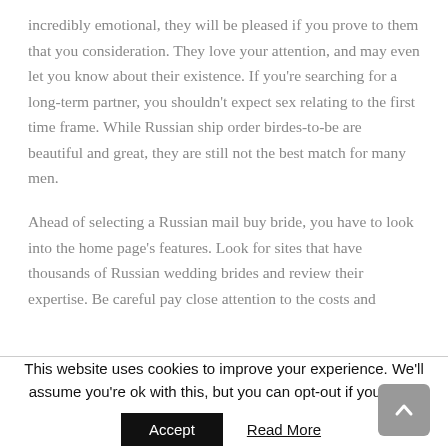incredibly emotional, they will be pleased if you prove to them that you consideration. They love your attention, and may even let you know about their existence. If you're searching for a long-term partner, you shouldn't expect sex relating to the first time frame. While Russian ship order birdes-to-be are beautiful and great, they are still not the best match for many men.
Ahead of selecting a Russian mail buy bride, you have to look into the home page's features. Look for sites that have thousands of Russian wedding brides and review their expertise. Be careful pay close attention to the costs and
This website uses cookies to improve your experience. We'll assume you're ok with this, but you can opt-out if you wish.
Accept   Read More